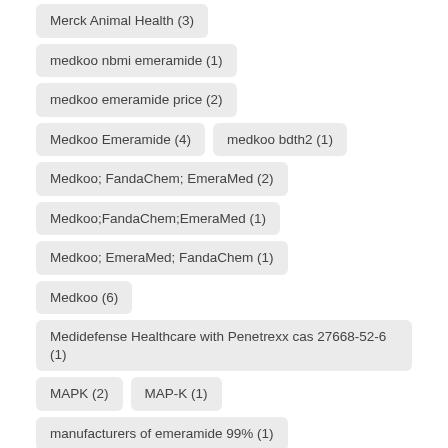Merck Animal Health (3)
medkoo nbmi emeramide (1)
medkoo emeramide price (2)
Medkoo Emeramide (4)
medkoo bdth2 (1)
Medkoo; FandaChem; EmeraMed (2)
Medkoo;FandaChem;EmeraMed (1)
Medkoo; EmeraMed; FandaChem (1)
Medkoo (6)
Medidefense Healthcare with Penetrexx cas 27668-52-6 (1)
MAPK (2)
MAP-K (1)
manufacturers of emeramide 99% (1)
manufacturers of emeramide (1)